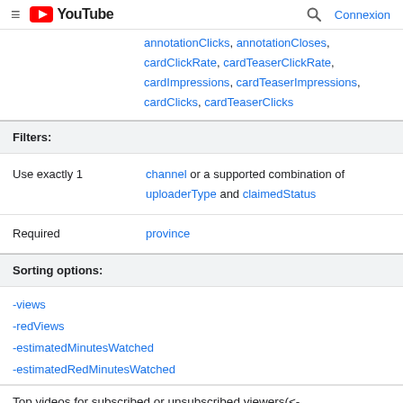YouTube — Connexion
annotationClicks, annotationCloses, cardClickRate, cardTeaserClickRate, cardImpressions, cardTeaserImpressions, cardClicks, cardTeaserClicks
Filters:
|  |  |
| --- | --- |
| Use exactly 1 | channel or a supported combination of uploaderType and claimedStatus |
| Required | province |
Sorting options:
-views
-redViews
-estimatedMinutesWatched
-estimatedRedMinutesWatched
Top videos for subscribed or unsubscribed viewers(<-